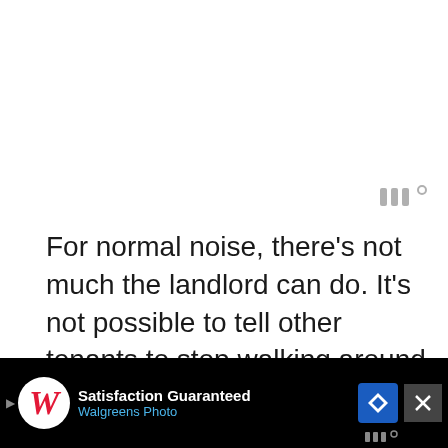[Figure (logo): Small grey watermark logo with vertical bars and degree symbol, top-right area]
For normal noise, there's not much the landlord can do. It's not possible to tell other tenants to stop walking around or stop talking.
However, when it comes to excessive noise, the landlord either has to take action or risk losing a tenant. In that scenario, it makes sense for them to so...
[Figure (screenshot): Black ad bar at bottom: Walgreens Photo advertisement with logo, 'Satisfaction Guaranteed' text, navigation icon, and close button. Also shows partially obscured bottom text and watermark.]